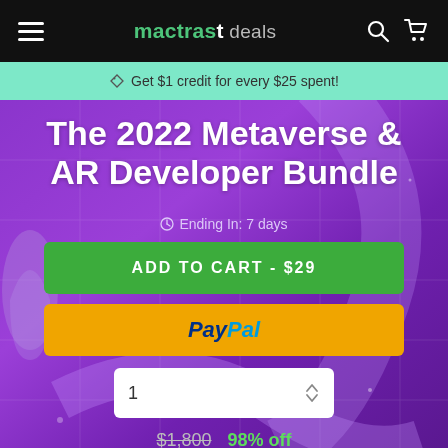mactrast deals
Get $1 credit for every $25 spent!
The 2022 Metaverse & AR Developer Bundle
Ending In: 7 days
ADD TO CART - $29
PayPal
1
$1,800  98% off